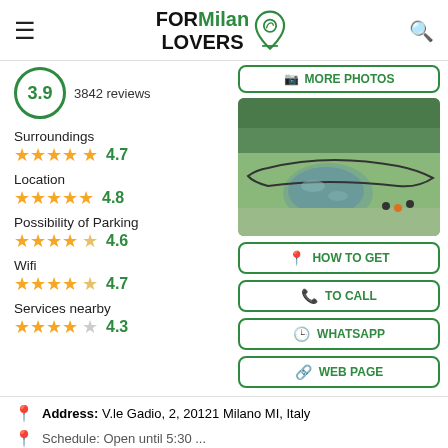FOR Milan LOVERS
3.9  3842 reviews
[Figure (photo): Aerial view of a park with a pond surrounded by a fence and trees, with visitors walking nearby.]
Surroundings  ★★★★½  4.7
Location  ★★★★★  4.8
Possibility of Parking  ★★★★½  4.6
Wifi  ★★★★½  4.7
Services nearby  ★★★★☆  4.3
Address: V.le Gadio, 2, 20121 Milano MI, Italy